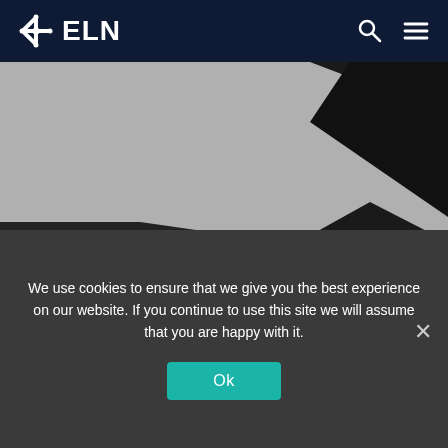ELN
[Figure (illustration): Abstract geometric composition with large dark triangles and parallelograms on a grey background, forming a stylized angular pattern]
Event
We use cookies to ensure that we give you the best experience on our website. If you continue to use this site we will assume that you are happy with it.